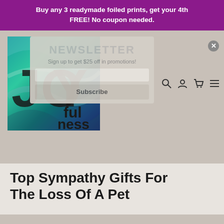Buy any 3 readymade foiled prints, get your 4th FREE! No coupon needed.
[Figure (illustration): JOYfulness product image on teal/green abstract wavy background]
[Figure (screenshot): Newsletter signup popup overlay with NEWSLETTER title, 'Sign up to get $25 off in promotions!' text, email input field, and Subscribe button]
Top Sympathy Gifts For The Loss Of A Pet